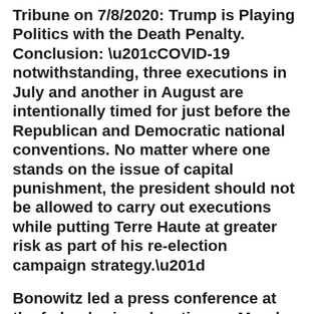Tribune on 7/8/2020: Trump is Playing Politics with the Death Penalty. Conclusion: “COVID-19 notwithstanding, three executions in July and another in August are intentionally timed for just before the Republican and Democratic national conventions. No matter where one stands on the issue of capital punishment, the president should not be allowed to carry out executions while putting Terre Haute at greater risk as part of his re-election campaign strategy.”
Bonowitz led a press conference at the federal prison location on Monday (7/6/2020): Activists Speak Out Against Upcoming